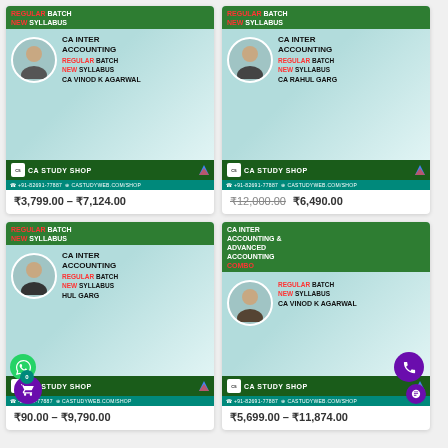[Figure (screenshot): CA Inter Accounting course by CA Vinod K Agarwal — Regular Batch New Syllabus. CA Study Shop banner. Price range ₹3,799.00 – ₹7,124.00]
₹3,799.00 – ₹7,124.00
[Figure (screenshot): CA Inter Accounting course by CA Rahul Garg — Regular Batch New Syllabus. CA Study Shop banner. Original price ₹12,000.00, Sale price ₹6,490.00]
₹12,000.00  ₹6,490.00
[Figure (screenshot): CA Inter Accounting course by CA Rahul Garg — Regular Batch New Syllabus. CA Study Shop banner. Price range ₹[x].00 – ₹9,790.00. WhatsApp button and cart overlay visible.]
₹[x].00 – ₹9,790.00
[Figure (screenshot): CA Inter Accounting & Advanced Accounting Combo by CA Vinod K Agarwal — Regular Batch New Syllabus. CA Study Shop banner. Price range ₹5,699.00 – ₹11,874.00. Phone button overlay visible.]
₹5,699.00 – ₹11,874.00